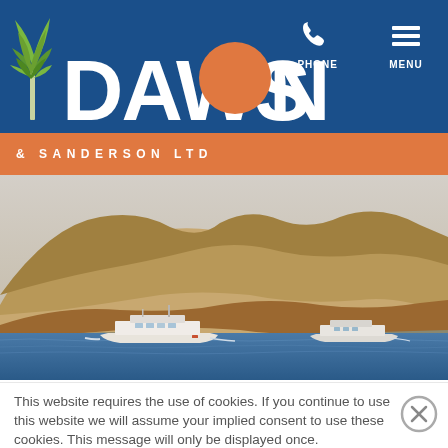[Figure (logo): Dawson & Sanderson Ltd logo with palm trees and orange sun on blue background header, with PHONE and MENU navigation icons top right]
[Figure (photo): Photo of two white yachts/boats sailing on blue water with large desert mountains in the background under a hazy sky]
This website requires the use of cookies. If you continue to use this website we will assume your implied consent to use these cookies. This message will only be displayed once.